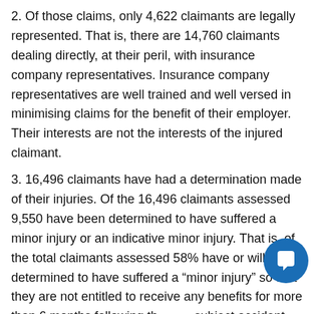2. Of those claims, only 4,622 claimants are legally represented. That is, there are 14,760 claimants dealing directly, at their peril, with insurance company representatives. Insurance company representatives are well trained and well versed in minimising claims for the benefit of their employer. Their interests are not the interests of the injured claimant.
3. 16,496 claimants have had a determination made of their injuries. Of the 16,496 claimants assessed 9,550 have been determined to have suffered a minor injury or an indicative minor injury. That is, of the total claimants assessed 58% have or will be determined to have suffered a “minor injury” so that they are not entitled to receive any benefits for more than 6 months following the subject accident.
4. Curiously SIRA has not provided to us the total of the premiums which have been collected by the insurers